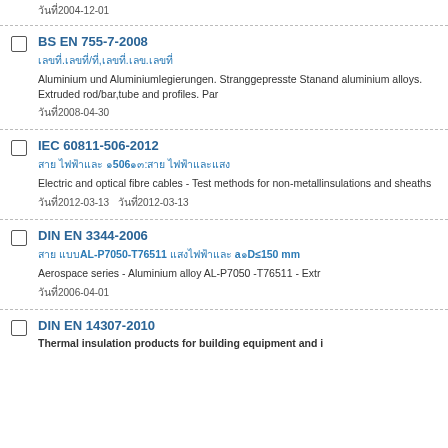████2004-12-01
BS EN 755-7-2008
████.████/██,█████.███.████████
Aluminium und Aluminiumlegierungen. Stranggepresste Stan... and aluminium alloys. Extruded rod/bar,tube and profiles. Par...
████2008-04-30
IEC 60811-506-2012
█████ ██████████ █506██:██████ ████████████████
Electric and optical fibre cables - Test methods for non-metall... insulations and sheaths
████2012-03-13  ████2012-03-13
DIN EN 3344-2006
█████ ███AL-P7050-T76511 ████████████████████ a█D≤150 mm
Aerospace series - Aluminium alloy AL-P7050 -T76511 - Extr...
████2006-04-01
DIN EN 14307-2010
Thermal insulation products for building equipment and i...